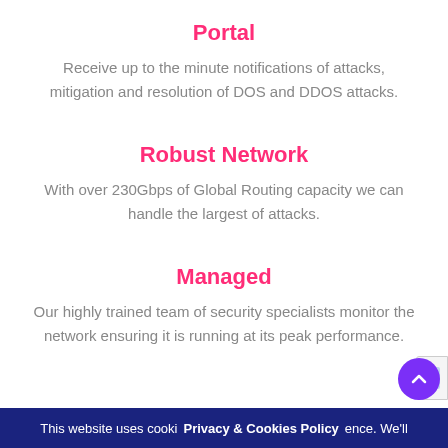Portal
Receive up to the minute notifications of attacks, mitigation and resolution of DOS and DDOS attacks.
Robust Network
With over 230Gbps of Global Routing capacity we can handle the largest of attacks.
Managed
Our highly trained team of security specialists monitor the network ensuring it is running at its peak performance.
This website uses cooki  Privacy & Cookies Policy  ence. We'll